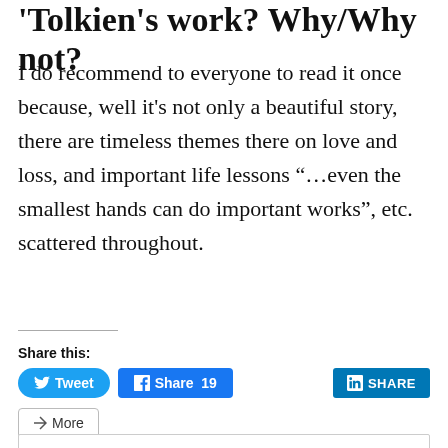'Tolkien's work? Why/Why not?
I do recommend to everyone to read it once because, well it's not only a beautiful story, there are timeless themes there on love and loss, and important life lessons “…even the smallest hands can do important works”, etc. scattered throughout.
Share this:
Tweet  Share 19  SHARE  More
Privacy & Cookies: This site uses cookies. By continuing to use this website, you agree to their use.
To find out more, including how to control cookies, see here: Cookie Policy
Close and accept
Related